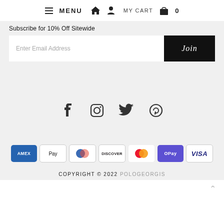≡ MENU  🏠  👤  MY CART  🛍  0
Subscribe for 10% Off Sitewide
Enter Email Address
Join
[Figure (illustration): Social media icons: Facebook, Instagram, Twitter, Pinterest]
[Figure (illustration): Payment method icons: American Express, Apple Pay, Diners Club, Discover, Mastercard, Google Pay, Visa]
COPYRIGHT © 2022 POLOGEORGIS